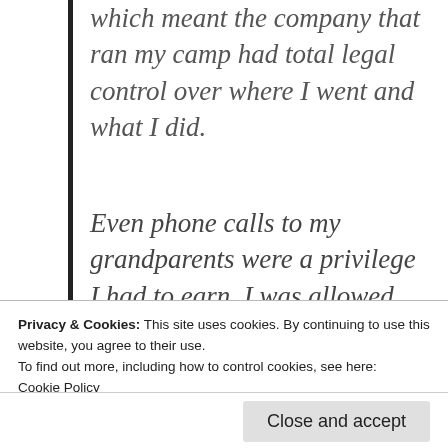which meant the company that ran my camp had total legal control over where I went and what I did.
Even phone calls to my grandparents were a privilege I had to earn. I was allowed five minutes, and a staff member sat next to me the entire time, listening in. If during the call I complained about being unhappy, that was "manipulative behavior," and
One night in August 2004, I awoke to a
Privacy & Cookies: This site uses cookies. By continuing to use this website, you agree to their use.
To find out more, including how to control cookies, see here:
Cookie Policy
Close and accept